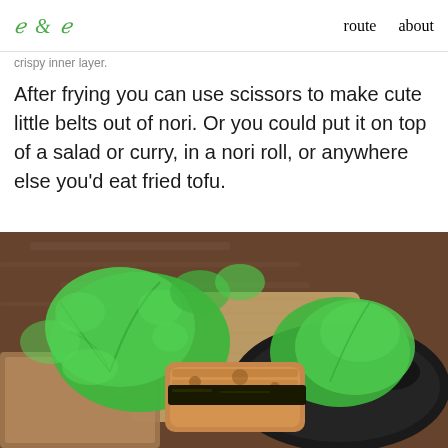e & e   route   about
crispy inner layer.
After frying you can use scissors to make cute little belts out of nori. Or you could put it on top of a salad or curry, in a nori roll, or anywhere else you'd eat fried tofu.
[Figure (photo): Close-up photo of fried tofu with nori belt served in a black dish with bright green lettuce leaves, on a wooden surface background.]